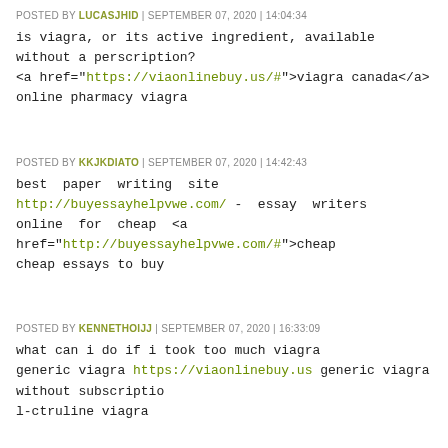POSTED BY LUCASJHID | SEPTEMBER 07, 2020 | 14:04:34
is viagra, or its active ingredient, available without a perscription?
<a href="https://viaonlinebuy.us/#">viagra canada</a>
online pharmacy viagra
POSTED BY KKJKDIATO | SEPTEMBER 07, 2020 | 14:42:43
best paper writing site http://buyessayhelpvwe.com/ - essay writers online for cheap <a href="http://buyessayhelpvwe.com/#">cheap cheap essays to buy
POSTED BY KENNETHOIJJ | SEPTEMBER 07, 2020 | 16:33:09
what can i do if i took too much viagra
generic viagra https://viaonlinebuy.us generic viagra without subscription
l-ctruline viagra
POSTED BY AMIEEPUXB | SEPTEMBER 07, 2020 | 17:24:56
viagra boys street worms